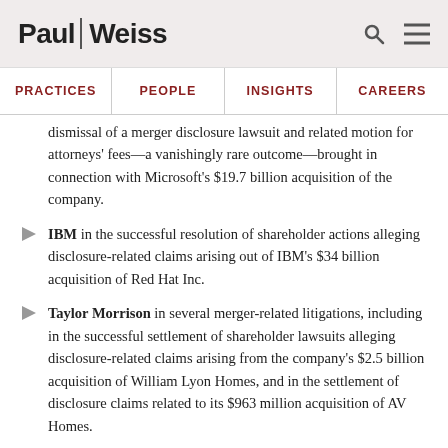Paul | Weiss
PRACTICES | PEOPLE | INSIGHTS | CAREERS
dismissal of a merger disclosure lawsuit and related motion for attorneys' fees—a vanishingly rare outcome—brought in connection with Microsoft's $19.7 billion acquisition of the company.
IBM in the successful resolution of shareholder actions alleging disclosure-related claims arising out of IBM's $34 billion acquisition of Red Hat Inc.
Taylor Morrison in several merger-related litigations, including in the successful settlement of shareholder lawsuits alleging disclosure-related claims arising from the company's $2.5 billion acquisition of William Lyon Homes, and in the settlement of disclosure claims related to its $963 million acquisition of AV Homes.
Trine Acquisition Corp. in a shareholder litigation concerning its $2.5 billion combination with 3D printing technology company Desktop Metal.